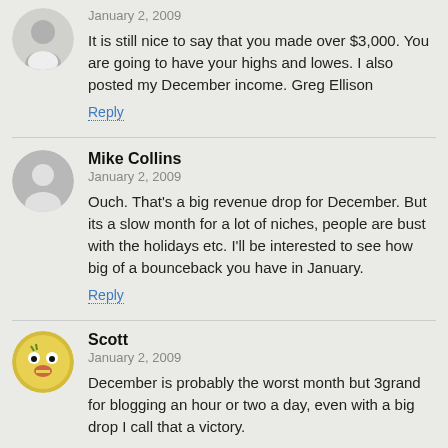January 2, 2009
It is still nice to say that you made over $3,000. You are going to have your highs and lowes. I also posted my December income. Greg Ellison
Reply
Mike Collins
January 2, 2009
Ouch. That's a big revenue drop for December. But its a slow month for a lot of niches, people are bust with the holidays etc. I'll be interested to see how big of a bounceback you have in January.
Reply
Scott
January 2, 2009
December is probably the worst month but 3grand for blogging an hour or two a day, even with a big drop I call that a victory.